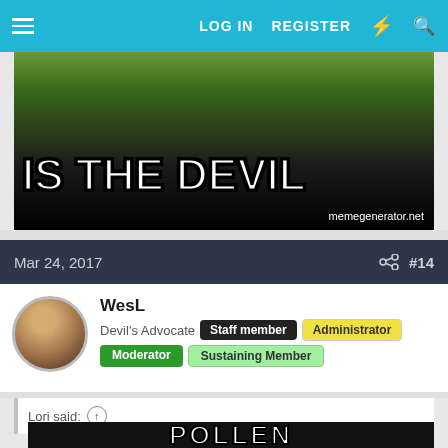LOG IN   REGISTER
[Figure (screenshot): Meme image with text 'IS THE DEVIL' in bold white letters with black outline over a dark background. Watermark reads memegenerator.net]
Mar 24, 2017   #14
WesL
Devil's Advocate   Staff member   Administrator   Moderator   Sustaining Member
Lori said:
[Figure (screenshot): Partial meme image showing the word POLLEN in large bold white letters on a dark background]